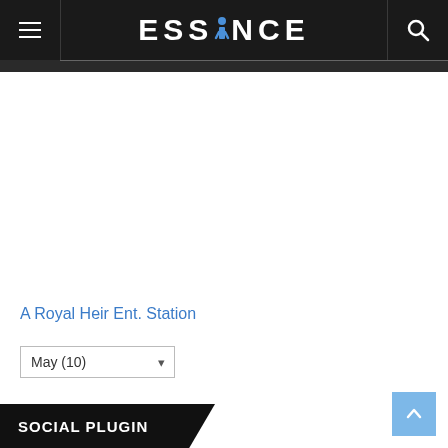ESSINCE
A Royal Heir Ent. Station
May (10)
SOCIAL PLUGIN